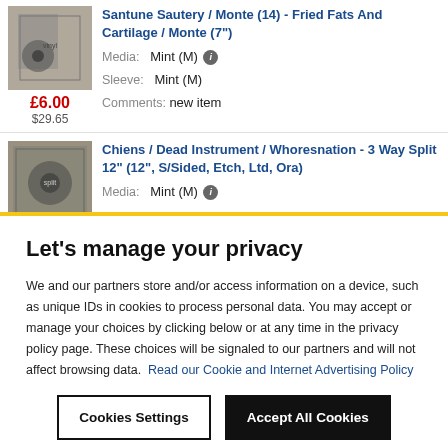[Figure (photo): Album cover thumbnail, grayscale, record with figure]
Santine Sautery / Monte (14) - Fried Fats And Cartilage / Monte (7")
Media: Mint (M)
Sleeve: Mint (M)
Comments: new item
£6.00
$29.65
[Figure (photo): Album cover thumbnail for Chiens / Dead Instrument / Whoresnation split]
Chiens / Dead Instrument / Whoresnation - 3 Way Split 12" (12", S/Sided, Etch, Ltd, Ora)
Media: Mint (M)
Let's manage your privacy
We and our partners store and/or access information on a device, such as unique IDs in cookies to process personal data. You may accept or manage your choices by clicking below or at any time in the privacy policy page. These choices will be signaled to our partners and will not affect browsing data. Read our Cookie and Internet Advertising Policy
Cookies Settings
Accept All Cookies